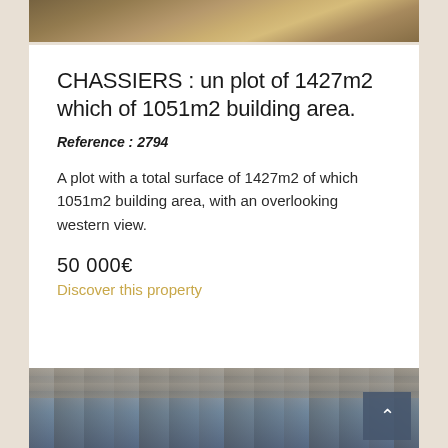[Figure (photo): Top portion of a rocky landscape photo with warm brown and golden tones, cropped at top of page]
CHASSIERS : un plot of 1427m2 which of 1051m2 building area.
Reference : 2794
A plot with a total surface of 1427m2 of which 1051m2 building area, with an overlooking western view.
50 000€
Discover this property
[Figure (photo): Bottom portion showing stone building facade with blue sky, partially visible, with a scroll-up button in the bottom right corner]